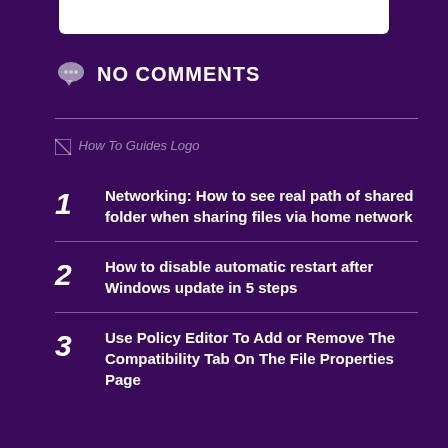[Figure (other): White horizontal bar at top of page]
NO COMMENTS
[Figure (logo): How To Guides Logo - broken image placeholder]
Networking: How to see real path of shared folder when sharing files via home network
How to disable automatic restart after Windows update in 5 steps
Use Policy Editor To Add or Remove The Compatibility Tab On The File Properties Page